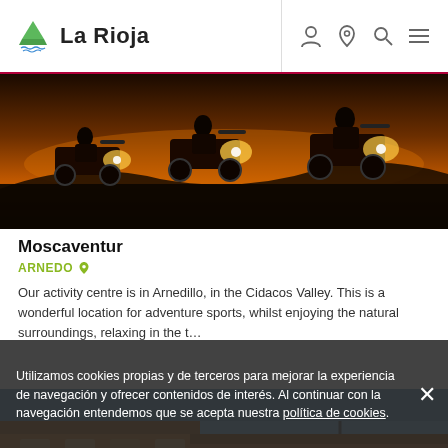La Rioja
[Figure (photo): ATV quad bikes riding at dusk/sunset with headlights on, silhouetted against a hazy landscape]
Moscaventur
ARNEDO
Our activity centre is in Arnedillo, in the Cidacos Valley. This is a wonderful location for adventure sports, whilst enjoying the natural surroundings, relaxing in the t…
[Figure (photo): Street-level view of a building with warm golden tones in an old town setting]
Utilizamos cookies propias y de terceros para mejorar la experiencia de navegación y ofrecer contenidos de interés. Al continuar con la navegación entendemos que se acepta nuestra política de cookies.